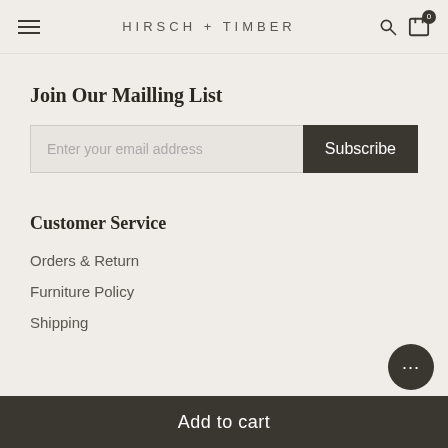HIRSCH + TIMBER
Join Our Mailling List
Enter your email address  Subscribe
Customer Service
Orders & Return
Furniture Policy
Shipping
Add to cart